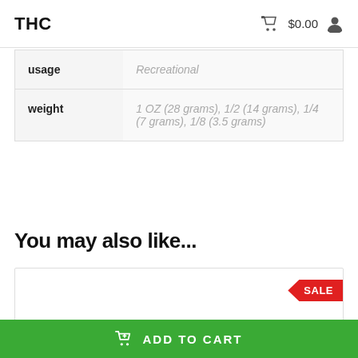THC   🛒 $0.00  👤
| usage | Recreational |
| weight | 1 OZ (28 grams), 1/2 (14 grams), 1/4 (7 grams), 1/8 (3.5 grams) |
You may also like...
[Figure (other): Product card with a red SALE banner in the top-right corner and a partial product image at the bottom]
ADD TO CART